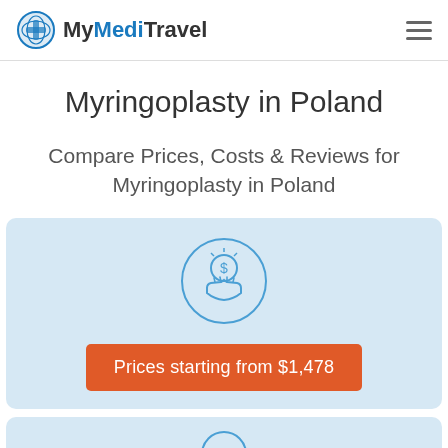MyMediTravel
Myringoplasty in Poland
Compare Prices, Costs & Reviews for Myringoplasty in Poland
[Figure (illustration): Circular icon showing a hand holding a coin with dollar sign and sparkles, representing pricing/cost information]
Prices starting from $1,478